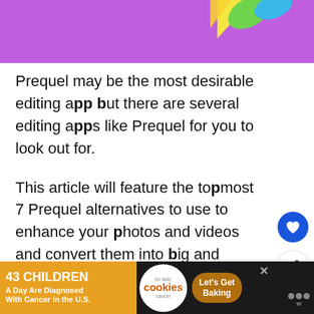[Figure (illustration): Purple banner with colorful geometric shapes (yellow, green, blue triangles/leaves) at top of page]
Prequel may be the most desirable editing app but there are several editing apps like Prequel for you to look out for.
This article will feature the topmost 7 Prequel alternatives to use to enhance your photos and videos and convert them into big and unique masterpieces.
Prequel: Aesthetic Editor is an advanced toolkit...